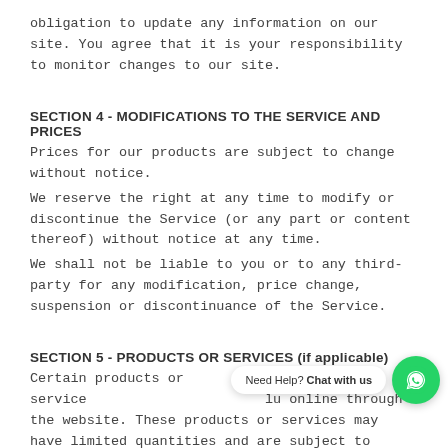obligation to update any information on our site. You agree that it is your responsibility to monitor changes to our site.
SECTION 4 - MODIFICATIONS TO THE SERVICE AND PRICES
Prices for our products are subject to change without notice.
We reserve the right at any time to modify or discontinue the Service (or any part or content thereof) without notice at any time.
We shall not be liable to you or to any third-party for any modification, price change, suspension or discontinuance of the Service.
SECTION 5 - PRODUCTS OR SERVICES (if applicable)
Certain products or services lu online through the website. These products or services may have limited quantities and are subject to return or